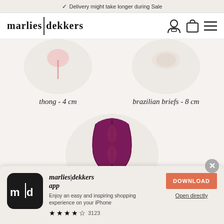Delivery might take longer during Sale
[Figure (logo): marlies|dekkers logo with vertical separator bar, plus user and cart icons and hamburger menu]
[Figure (photo): Circular product image showing thong underwear on light background]
thong - 4 cm
[Figure (photo): Circular product image showing brazilian briefs on light background]
brazilian briefs - 8 cm
[Figure (photo): Circular product image showing a purple/plum corset/waist cincher]
[Figure (infographic): App download popup banner with marlies|dekkers app icon (m|d), title, description, star rating 3123 reviews, DOWNLOAD button and Open directly link]